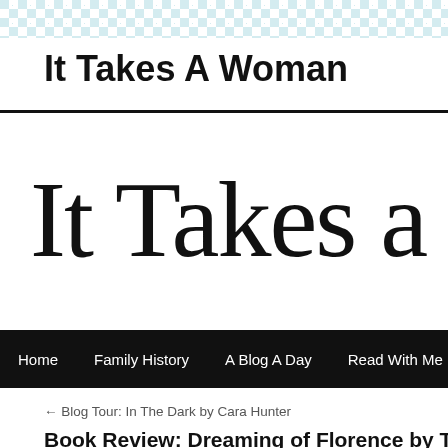[Figure (other): Light teal/blue checkerboard pattern background banner at the top of the page]
It Takes A Woman
[Figure (logo): Large decorative serif/antiqua font logo reading 'It Takes a Wo' (cropped at right edge)]
Home   Family History   A Blog A Day   Read With Me   Book Re...
← Blog Tour: In The Dark by Cara Hunter
Book Review: Dreaming of Florence by T...